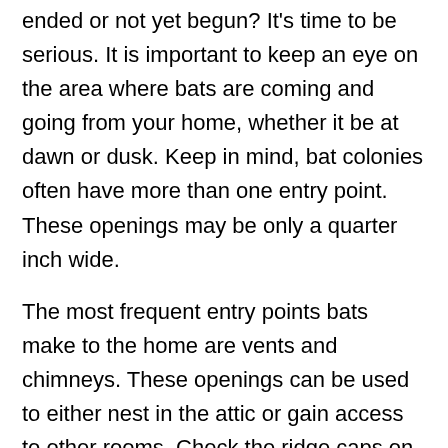ended or not yet begun? It's time to be serious. It is important to keep an eye on the area where bats are coming and going from your home, whether it be at dawn or dusk. Keep in mind, bat colonies often have more than one entry point. These openings may be only a quarter inch wide.
The most frequent entry points bats make to the home are vents and chimneys. These openings can be used to either nest in the attic or gain access to other rooms. Check the ridge caps on the roof, attic vents on one side, and fascia boards on both the eaves.